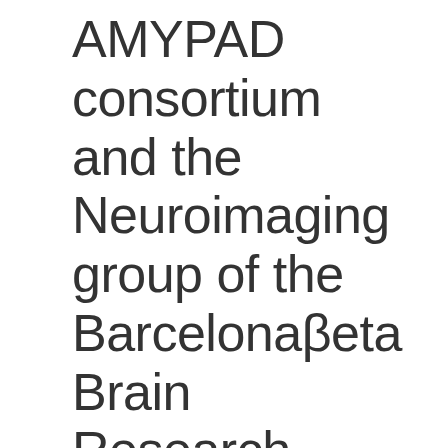AMYPAD consortium and the Neuroimaging group of the Barcelonaβeta Brain Research